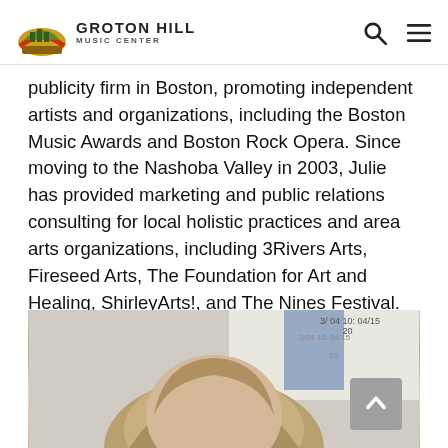GROTON HILL MUSIC CENTER
publicity firm in Boston, promoting independent artists and organizations, including the Boston Music Awards and Boston Rock Opera. Since moving to the Nashoba Valley in 2003, Julie has provided marketing and public relations consulting for local holistic practices and area arts organizations, including 3Rivers Arts, Fireseed Arts, The Foundation for Art and Healing, ShirleyArts!, and The Nines Festival. She holds a B.A. in English and Spanish from UMass-Amherst.
[Figure (photo): A partial photo of a person with blonde/light brown hair, taken in what appears to be a classroom or office setting with a whiteboard visible in the background.]